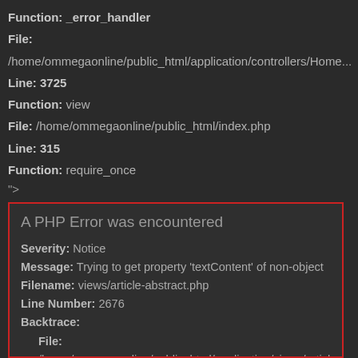Function: _error_handler
File:
/home/ommegaonline/public_html/application/controllers/Home...
Line: 3725
Function: view
File: /home/ommegaonline/public_html/index.php
Line: 315
Function: require_once
">
A PHP Error was encountered
Severity: Notice
Message: Trying to get property 'textContent' of non-object
Filename: views/article-abstract.php
Line Number: 2676
Backtrace:
File:
/home/ommegaonline/public_html/application/views/article-abstract.php
Line: 2676